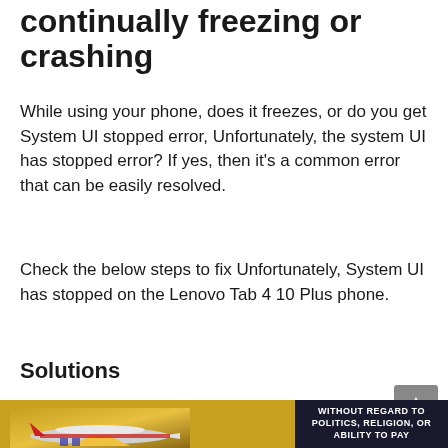continually freezing or crashing
While using your phone, does it freezes, or do you get System UI stopped error, Unfortunately, the system UI has stopped error? If yes, then it's a common error that can be easily resolved.
Check the below steps to fix Unfortunately, System UI has stopped on the Lenovo Tab 4 10 Plus phone.
Solutions
[Figure (photo): Advertisement image showing an airplane being loaded with cargo, with text 'WITHOUT REGARD TO POLITICS, RELIGION, OR ABILITY TO PAY']